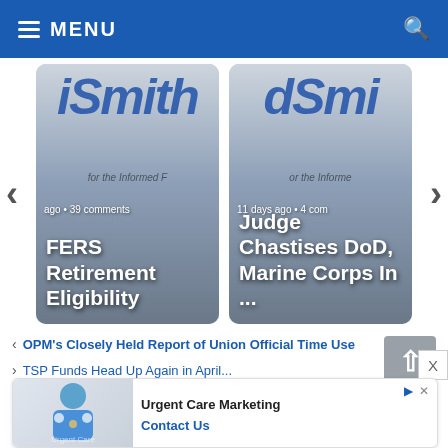MENU
[Figure (screenshot): Carousel of two article cards. Left card shows partial text: ago • 39 comments, FERS Retirement Eligibility. Right card shows: 11 days ago • 4 comments, Judge Chastises DoD, Marine Corps In ... Both cards have FedSmith logo watermark and navigation arrows on sides.]
OPM's Closely Held Report of Union Official Time Use
[Figure (screenshot): Advertisement banner for Urgent Care Marketing with a doctor figure image on the left and 'Contact Us' call to action on the right.]